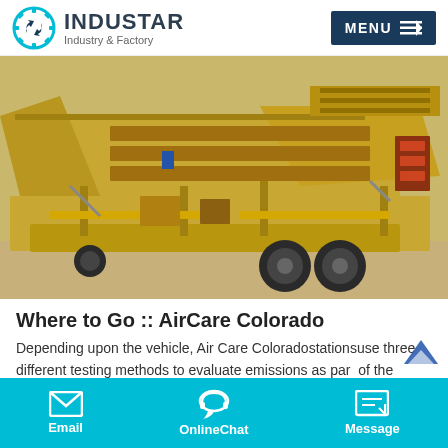INDUSTAR Industry & Factory | MENU
[Figure (photo): Large yellow mobile industrial crushing/screening machine on a trailer with multiple conveyor belts and screening decks, parked outdoors on a gravel/dirt area.]
Where to Go :: AirCare Colorado
Depending upon the vehicle, Air Care Coloradostationsuse three different testing methods to evaluate emissions as part of the overall emissions inspection. They are: 1982-and-newer
Email | OnlineChat | Message